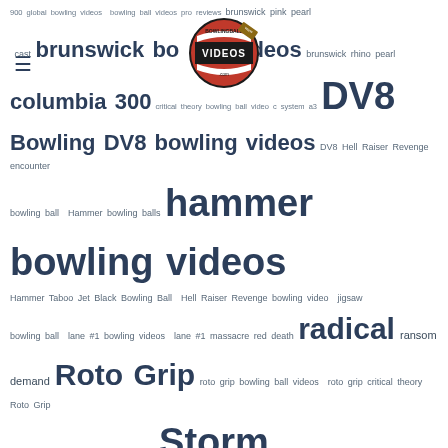[Figure (logo): BowlingBall Videos logo — circular red/black badge with VIDEOS text]
900 global bowling videos bowling ball videos pro reviews brunswick pink pearl columbia 300 critical theory bowling ball video c system a3 DV8 Bowling DV8 bowling videos DV8 Hell Raiser Revenge encounter bowling ball Hammer bowling balls hammer bowling videos Hammer Taboo Jet Black Bowling Ball Hell Raiser Revenge bowling video jigsaw bowling ball lane #1 bowling videos lane #1 massacre red death radical ransom demand Roto Grip roto grip bowling ball videos roto grip critical theory Roto Grip Defiant bowling ball reaction video Storm Bowling storm bowling ball video storm bowling ball videos storm crossroad storm fast storm hy-road storm modern marvel bowling ball storm virtual energy Storm Virtual Gravity storm vivid bowling ball storm vivid review storm vivid video track 508a track bowling video ball review virtual gravity nano bowling video virtual gravity nano pearl virtual gravity nano review